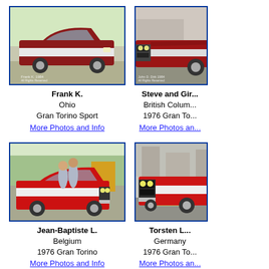[Figure (photo): Red and white Gran Torino Sport car parked in a lot, side view, Frank K., Ohio]
Frank K.
Ohio
Gran Torino Sport
More Photos and Info
[Figure (photo): Red Gran Torino front view, Steve and Gir..., British Columbia]
Steve and Gir...
British Colum...
1976 Gran To...
More Photos an...
[Figure (photo): Red and white Gran Torino with two people standing in front, Jean-Baptiste L., Belgium]
Jean-Baptiste L.
Belgium
1976 Gran Torino
More Photos and Info
[Figure (photo): Red Gran Torino front-angle view on street, Torsten L., Germany]
Torsten L.
Germany
1976 Gran To...
More Photos an...
[Figure (photo): Partial photo at bottom left]
[Figure (photo): Partial photo at bottom right]